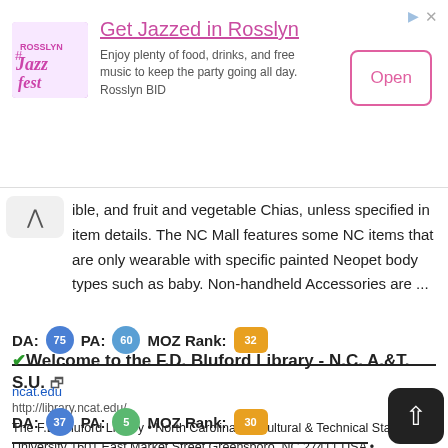[Figure (screenshot): Ad banner for Rosslyn Jazz Fest - Get Jazzed in Rosslyn with Open button]
ible, and fruit and vegetable Chias, unless specified in item details. The NC Mall features some NC items that are only wearable with specific painted Neopet body types such as baby. Non-handheld Accessories are ...
DA: 73  PA: 60  MOZ Rank: 32
✓Welcome to the F.D. Bluford Library - N.C. A.&T. S.U. 🔗
ncat.edu
http://library.ncat.edu/
The F.D. Bluford Library • North Carolina Agricultural & Technical State University 1601 East Market Street Greensboro, NC 27411 USA • 336.285.4185 • 888.246.1272 • « Send Us a Suggestion »336.285.4185 • 888.246.1272 • « Send Us a Suggestion »
DA: 37  PA: 5  MOZ Rank: 30